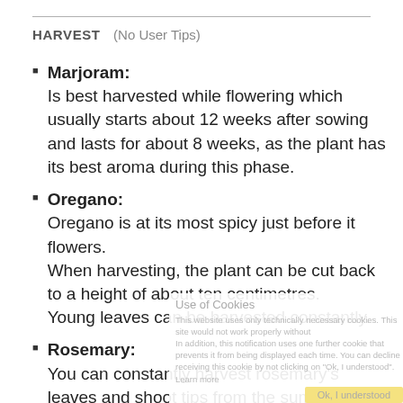HARVEST   (No User Tips)
Marjoram:
Is best harvested while flowering which usually starts about 12 weeks after sowing and lasts for about 8 weeks, as the plant has its best aroma during this phase.
Oregano:
Oregano is at its most spicy just before it flowers.
When harvesting, the plant can be cut back to a height of about ten centimetres.
Young leaves can be harvested constantly.
Rosemary:
You can constantly harvest rosemary's leaves and shoot tips from the summer